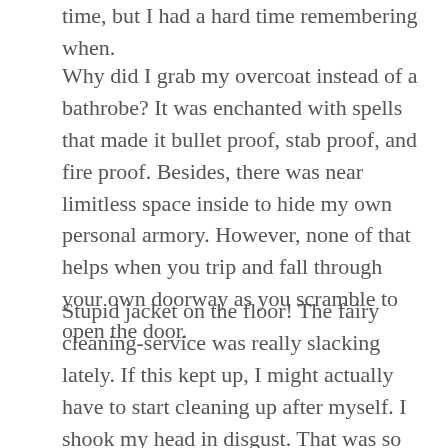time, but I had a hard time remembering when.
Why did I grab my overcoat instead of a bathrobe? It was enchanted with spells that made it bullet proof, stab proof, and fire proof. Besides, there was near limitless space inside to hide my own personal armory. However, none of that helps when you trip and fall through your own doorway as you scramble to open the door.
Stupid jacket on the floor! The fairy cleaning-service was really slacking lately. If this kept up, I might actually have to start cleaning up after myself. I shook my head in disgust. That was so not happening. If there's one thing Lillim Callina does not do, it's clean.